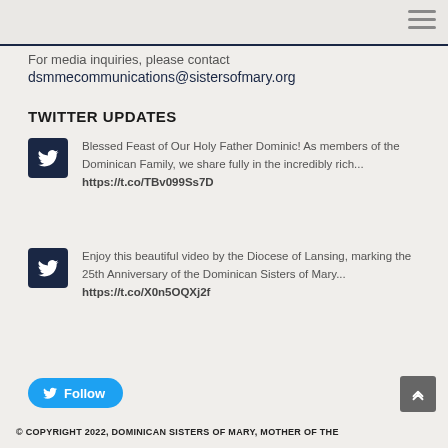For media inquiries, please contact
dsmmecommunications@sistersofmary.org
TWITTER UPDATES
Blessed Feast of Our Holy Father Dominic! As members of the Dominican Family, we share fully in the incredibly rich... https://t.co/TBv099Ss7D
Enjoy this beautiful video by the Diocese of Lansing, marking the 25th Anniversary of the Dominican Sisters of Mary... https://t.co/X0n5OQXj2f
Follow
© COPYRIGHT 2022, DOMINICAN SISTERS OF MARY, MOTHER OF THE